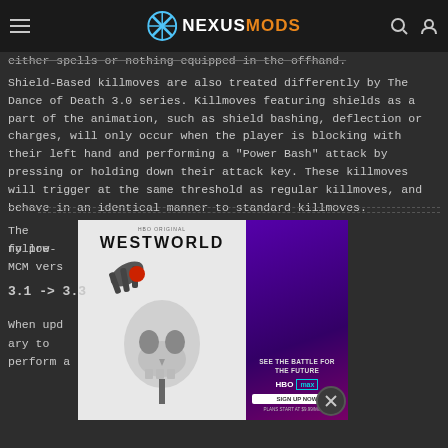NEXUSMODS
either spells or nothing equipped in the offhand.
Shield-Based killmoves are also treated differently by The Dance of Death 3.0 series. Killmoves featuring shields as a part of the animation, such as shield bashing, deflection or charges, will only occur when the player is blocking with their left hand and performing a "Power Bash" attack by pressing or holding down their attack key. These killmoves will trigger at the same threshold as regular killmoves, and behave in an identical manner to standard killmoves.
[Figure (other): Westworld HBO Max advertisement banner]
The following
ny pre-MCM vers
3.1 -> 3.3
When upd
ary to perform a